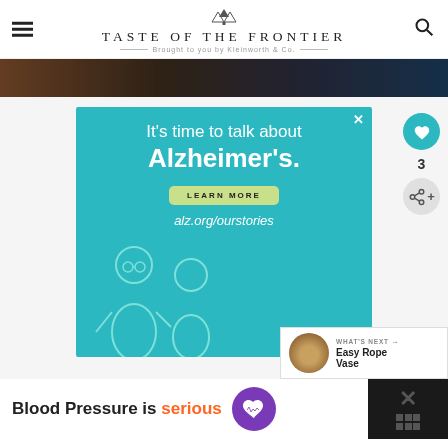TASTE OF THE FRONTIER — Brought to you by Kleinworth & Co.
[Figure (photo): Hero image strip showing food on a dark background]
[Figure (infographic): Advertisement: It's time to talk about Alzheimer's. LEARN MORE. alz.org/ourstories. Alzheimer's Association ad with illustrated elderly figures.]
[Figure (infographic): What's Next: Easy Rope Vase with thumbnail image]
[Figure (infographic): Bottom banner ad: Blood Pressure is serious with purple heart icon]